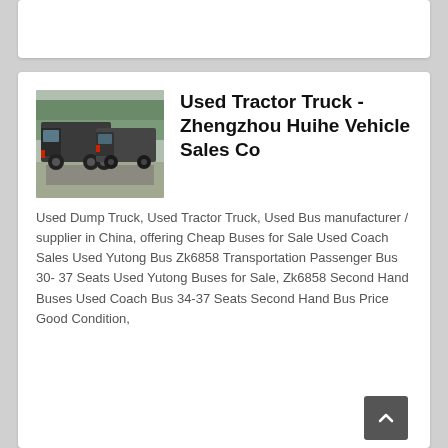[Figure (photo): Two dark-colored tractor trucks parked side by side outdoors, viewed from the rear-left angle.]
Used Tractor Truck - Zhengzhou Huihe Vehicle Sales Co
Used Dump Truck, Used Tractor Truck, Used Bus manufacturer / supplier in China, offering Cheap Buses for Sale Used Coach Sales Used Yutong Bus Zk6858 Transportation Passenger Bus 30- 37 Seats Used Yutong Buses for Sale, Zk6858 Second Hand Buses Used Coach Bus 34-37 Seats Second Hand Bus Price Good Condition,